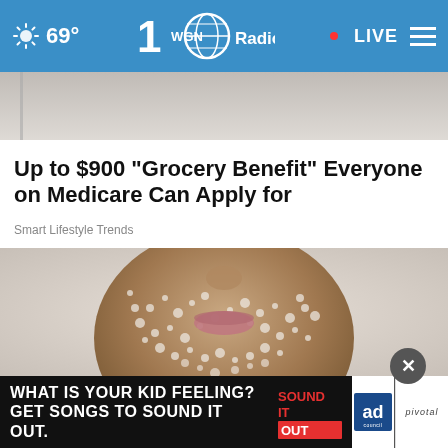69° WGN Radio • LIVE
[Figure (photo): Partial top image strip showing blurred background]
Up to $900 "Grocery Benefit" Everyone on Medicare Can Apply for
Smart Lifestyle Trends
[Figure (photo): Close-up of a person's face covered in salt or sugar crystals, focusing on nose and lips area]
[Figure (other): Advertisement banner: WHAT IS YOUR KID FEELING? GET SONGS TO SOUND IT OUT. with Sound It Out logo, Ad Council logo, and Pivotal branding]